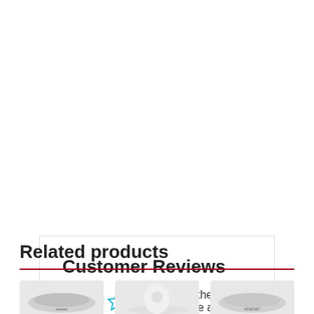Customer Reviews
Be the first to write a review
Write a review
Related products
[Figure (photo): Three related product images at bottom of page showing security cameras/devices]